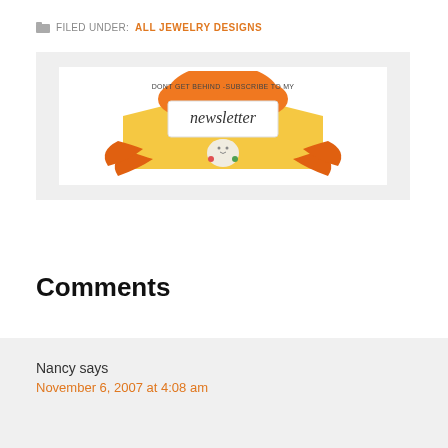FILED UNDER: ALL JEWELRY DESIGNS
[Figure (illustration): Newsletter subscription banner with a cartoon bear holding a sign reading 'newsletter' with orange envelope and arrows. Text reads 'DONT GET BEHIND - SUBSCRIBE TO MY newsletter']
Comments
Nancy says
November 6, 2007 at 4:08 am